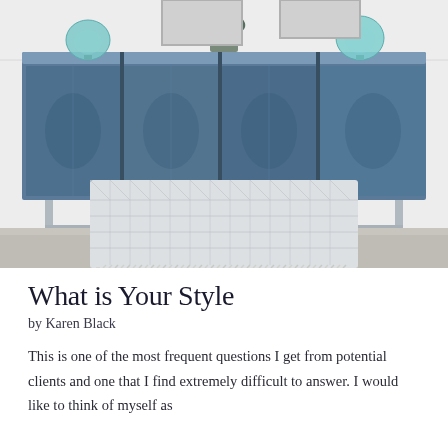[Figure (photo): Interior design photo showing a blue/grey textured sideboard cabinet on chrome legs with teal glass globe vases and a plant on top. In front is a light grey tufted ottoman/bench with a white and grey geometric patterned throw blanket with fringe draped over it.]
What is Your Style
by Karen Black
This is one of the most frequent questions I get from potential clients and one that I find extremely difficult to answer. I would like to think of myself as